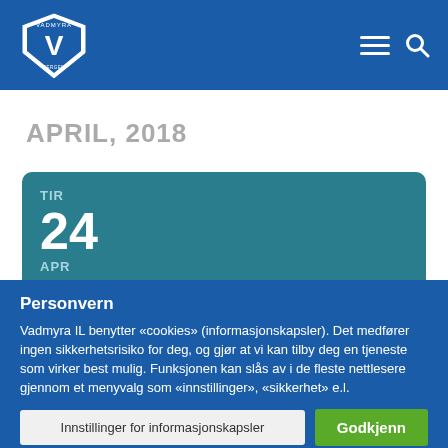Vadmyra IL - header navigation
APRIL, 2018
TIR
24
APR
Vadmyra G10 1 - Innekloster/Nave...
Personvern
Vadmyra IL benytter «cookies» (informasjonskapsler). Det medfører ingen sikkerhetsrisiko for deg, og gjør at vi kan tilby deg en tjeneste som virker best mulig. Funksjonen kan slås av i de fleste nettlesere gjennom et menyvalg som «innstillinger», «sikkerhet» e.l.
Innstillinger for informasjonskapsler
Godkjenn